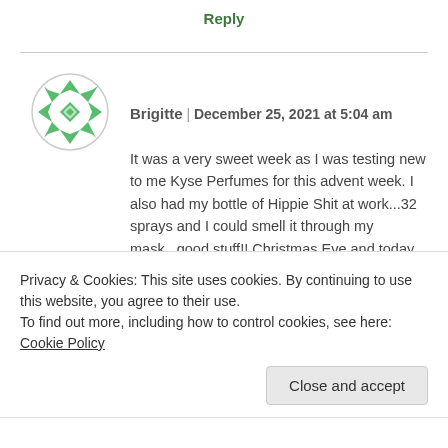Reply
[Figure (illustration): Circular avatar icon with green geometric/floral pattern on white background]
Brigitte | December 25, 2021 at 5:04 am
It was a very sweet week as I was testing new to me Kyse Perfumes for this advent week. I also had my bottle of Hippie Shit at work...32 sprays and I could smell it through my mask...good stuff!! Christmas Eve and today wearing Sonoma Scent Studio Fig Tree because I was craving it. My favorite fig in the world. And the new owner of SSS is such a sweetheart and goes the extra mile for her customers so I like to
Privacy & Cookies: This site uses cookies. By continuing to use this website, you agree to their use.
To find out more, including how to control cookies, see here: Cookie Policy
Close and accept